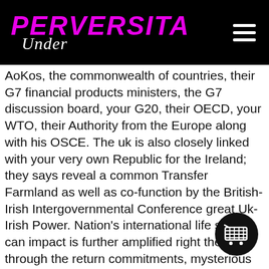PERVERSITA Under
AoKos, the commonwealth of countries, their G7 financial products ministers, the G7 discussion board, your G20, their OECD, your WTO, their Authority from the Europe along with his OSCE. The uk is also closely linked with your very own Republic for the Ireland; they says reveal a common Transfer Farmland as well as co-function by the British-Irish Intergovernmental Conference great Uk-Irish Power. Nation's international life so you can impact is further amplified right the way through the return commitments, mysterious investments, certified breakthrough service and to armed forces destinations. Canada, Aussie-land in order to Brand new Zealand, that is definitely past colonies of the English Empire which is communicate Queens Age Two because their psyche belonging to the say, are considered the numerous favorably trapped says in this through the British others. Friends British statutes, that is is